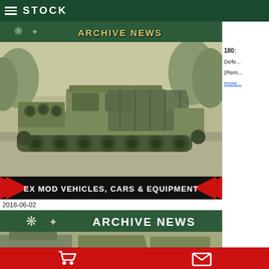STOCK
[Figure (other): Archive News banner with military insignia icons and stylized text reading ARCHIVE NEWS on dark green background]
[Figure (photo): Sepia-toned photograph of a large tracked military vehicle (M270 MLRS or similar armored personnel carrier/rocket launcher) with canvas cover, parked outdoors among trees]
180: Defe... (Rem... more...
[Figure (infographic): Black banner with red chevron arrows on both sides reading EX MOD VEHICLES, CARS & EQUIPMENT in white bold text]
2018-06-02
[Figure (other): Archive News banner with military insignia icons and white bold text reading ARCHIVE NEWS on dark green background]
[Figure (photo): Partial photograph of military vehicles - a Land Rover type vehicle visible]
Shopping cart icon and envelope/message icon on red background navigation bar